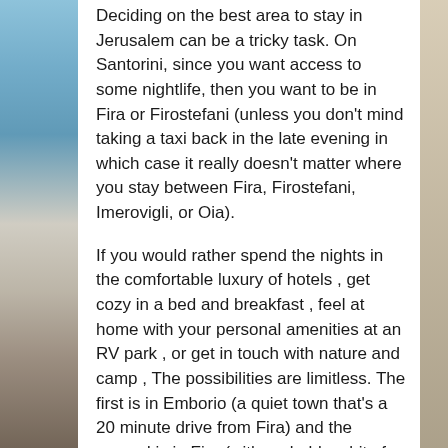Deciding on the best area to stay in Jerusalem can be a tricky task. On Santorini, since you want access to some nightlife, then you want to be in Fira or Firostefani (unless you don't mind taking a taxi back in the late evening in which case it really doesn't matter where you stay between Fira, Firostefani, Imerovigli, or Oia).
If you would rather spend the nights in the comfortable luxury of hotels , get cozy in a bed and breakfast , feel at home with your personal amenities at an RV park , or get in touch with nature and camp , The possibilities are limitless. The first is in Emborio (a quiet town that's a 20 minute drive from Fira) and the second is in Fira (with probably a bit of an uphill walk to get to the town center and caldera foot path).
Located in the heart of the Gothic Quarter, Hotel Mercer Barcelona is set in one of the city's ancient buildings, next to the Roman walls. Found in the heart of Georgetown, surrounded by restaurants and shops, the Four Seaseons Hotel Washington D.C. provides more than 200 rooms, including 59 spacious suites with separate sitting areas,